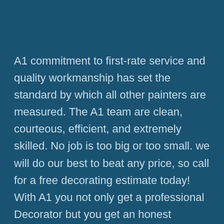A1 commitment to first-rate service and quality workmanship has set the standard by which all other painters are measured. The A1 team are clean, courteous, efficient, and extremely skilled. No job is too big or too small. we will do our best to beat any price, so call for a free decorating estimate today!
With A1 you not only get a professional Decorator but you get an honest experienced friend in the decorating business. We work closely with yourself  ensuring the best possible results for you. Our experienced decorators guarantee clean, prompt service.
Don't trust your painting needs to anyone with a brush. We offer a wealth of experience and expertise, at the